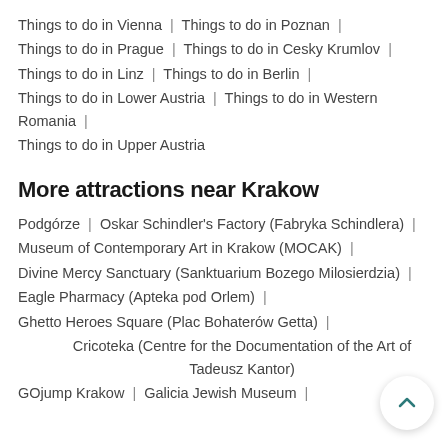Things to do in Vienna | Things to do in Poznan |
Things to do in Prague | Things to do in Cesky Krumlov |
Things to do in Linz | Things to do in Berlin |
Things to do in Lower Austria | Things to do in Western Romania |
Things to do in Upper Austria
More attractions near Krakow
Podgórze | Oskar Schindler's Factory (Fabryka Schindlera) |
Museum of Contemporary Art in Krakow (MOCAK) |
Divine Mercy Sanctuary (Sanktuarium Bozego Milosierdzia) |
Eagle Pharmacy (Apteka pod Orlem) |
Ghetto Heroes Square (Plac Bohaterów Getta) |
Cricoteka (Centre for the Documentation of the Art of Tadeusz Kantor)
GOjump Krakow | Galicia Jewish Museum |